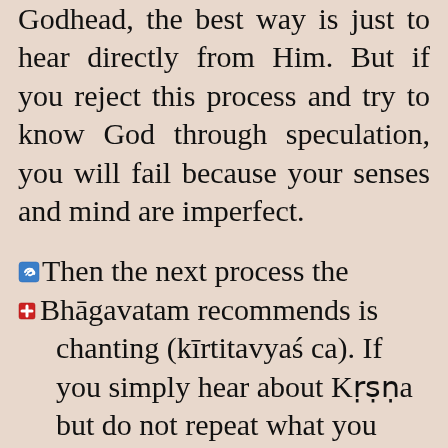Godhead, the best way is just to hear directly from Him. But if you reject this process and try to know God through speculation, you will fail because your senses and mind are imperfect.
Then the next process the Bhāgavatam recommends is chanting (kīrtitavyaś ca). If you simply hear about Kṛṣṇa but do not repeat what you